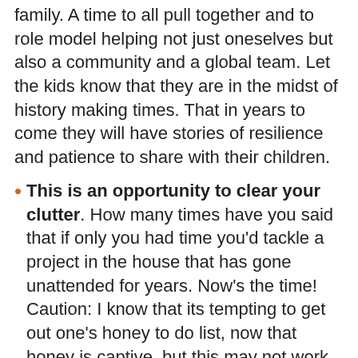family. A time to all pull together and to role model helping not just oneselves but also a community and a global team. Let the kids know that they are in the midst of history making times. That in years to come they will have stories of resilience and patience to share with their children.
This is an opportunity to clear your clutter. How many times have you said that if only you had time you'd tackle a project in the house that has gone unattended for years. Now's the time! Caution: I know that its tempting to get out one's honey to do list, now that honey is captive, but this may not work so well. Again, sitting down together and figuring out what needs to be tackled, who's going to do what and how, may work best.
Try to filter information. We live in a time of